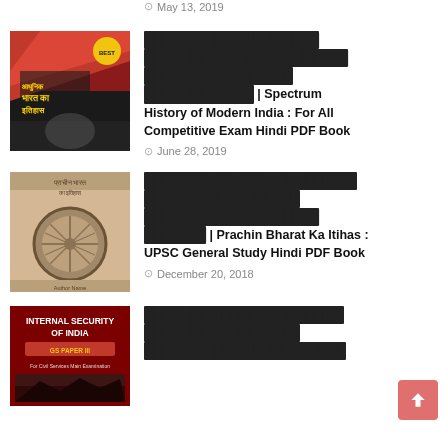May 13, 2019
[Figure (photo): Book cover: Adhunik Bharat Ka Itihas (Modern History of India)]
[Hindi text] | Spectrum History of Modern India : For All Competitive Exam Hindi PDF Book
June 28, 2019
[Figure (photo): Book cover: Prachin Bharat Ka Itihas (Ancient History of India)]
[Hindi text] | Prachin Bharat Ka Itihas : UPSC General Study Hindi PDF Book
December 20, 2018
[Figure (photo): Book cover: Internal Security of India, GS Paper III]
[Hindi text] Internal Security of India Related Hindi PDF Book